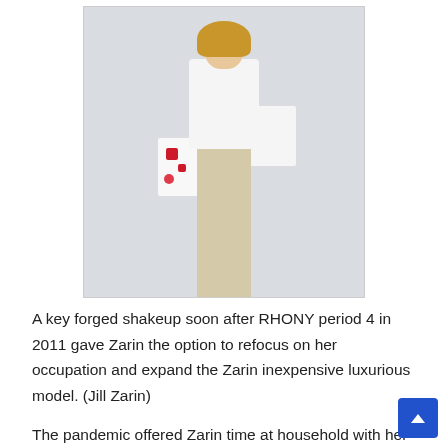[Figure (photo): Woman in white shirt and khaki pants holding two patterned bags against a light background. Caption references Jill Zarin.]
A key forged shakeup soon after RHONY period 4 in 2011 gave Zarin the option to refocus on her occupation and expand the Zarin inexpensive luxurious model. (Jill Zarin)
The pandemic offered Zarin time at household with her relatives, and she collaborated with her daughter, Artistic Director Allyson Shapiro, to launch the Jill & Ally model dependent on tie-